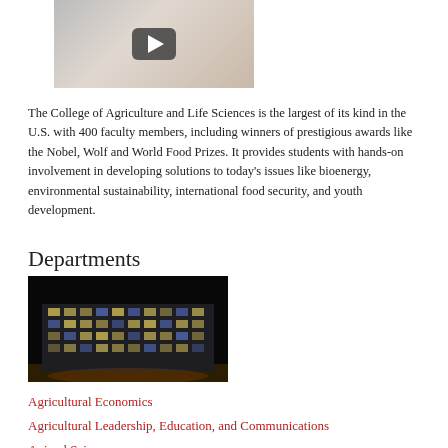[Figure (photo): Video thumbnail showing a woman smiling with a play button overlay, appears to be a college promotional video.]
The College of Agriculture and Life Sciences is the largest of its kind in the U.S. with 400 faculty members, including winners of prestigious awards like the Nobel, Wolf and World Food Prizes. It provides students with hands-on involvement in developing solutions to today's issues like bioenergy, environmental sustainability, international food security, and youth development.
Departments
[Figure (photo): Nighttime photo of a large multi-story brick academic building illuminated against a dark sky.]
Agricultural Economics
Agricultural Leadership, Education, and Communications
Animal Science